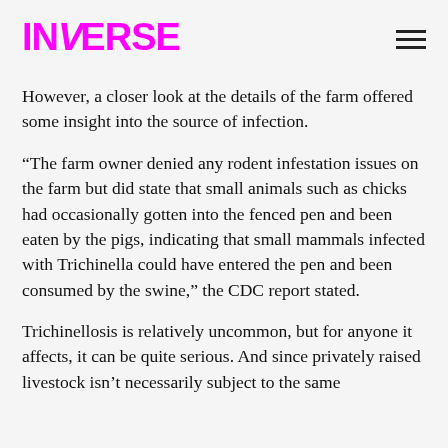INVERSE
However, a closer look at the details of the farm offered some insight into the source of infection.
“The farm owner denied any rodent infestation issues on the farm but did state that small animals such as chicks had occasionally gotten into the fenced pen and been eaten by the pigs, indicating that small mammals infected with Trichinella could have entered the pen and been consumed by the swine,” the CDC report stated.
Trichinellosis is relatively uncommon, but for anyone it affects, it can be quite serious. And since privately raised livestock isn’t necessarily subject to the same